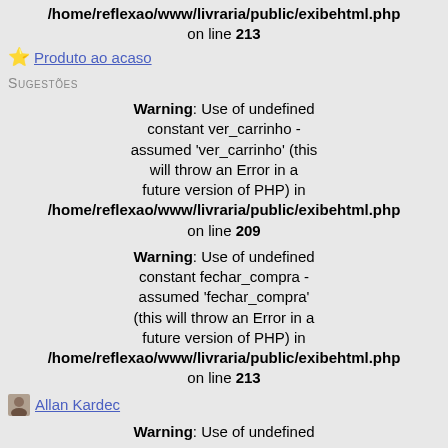/home/reflexao/www/livraria/public/exibehtml.php on line 213
⭐ Produto ao acaso
Sugestões
Warning: Use of undefined constant ver_carrinho - assumed 'ver_carrinho' (this will throw an Error in a future version of PHP) in /home/reflexao/www/livraria/public/exibehtml.php on line 209
Warning: Use of undefined constant fechar_compra - assumed 'fechar_compra' (this will throw an Error in a future version of PHP) in /home/reflexao/www/livraria/public/exibehtml.php on line 213
Allan Kardec
Warning: Use of undefined